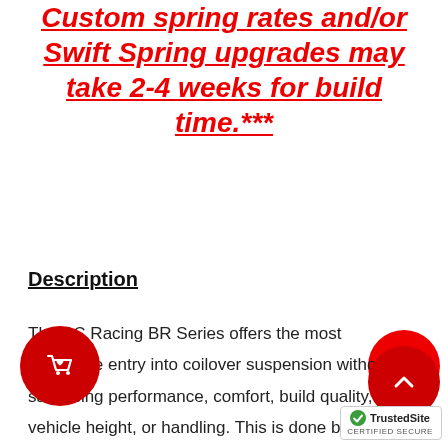Custom spring rates and/or Swift Spring upgrades may take 2-4 weeks for build time.***
Description
The BC Racing BR Series offers the most affordable entry into coilover suspension without sacrificing performance, comfort, build quality, vehicle height, or handling. This is done by extensively testing each vehicle then refining the coilover characteristics as many times as needed to ensure the most well-balanced and affordable aftermarket suspension conceivable. BC Racing takes
[Figure (illustration): Red circle decorative element top-right]
[Figure (illustration): Red circular shopping cart button with cart and heart icon, bottom-left]
[Figure (illustration): Red circular up-arrow button, bottom-right]
[Figure (logo): TrustedSite Certified Secure badge, bottom-right corner]